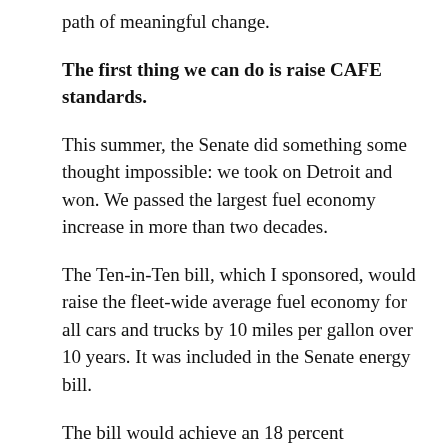path of meaningful change.
The first thing we can do is raise CAFE standards.
This summer, the Senate did something some thought impossible: we took on Detroit and won. We passed the largest fuel economy increase in more than two decades.
The Ten-in-Ten bill, which I sponsored, would raise the fleet-wide average fuel economy for all cars and trucks by 10 miles per gallon over 10 years. It was included in the Senate energy bill.
The bill would achieve an 18 percent reduction in emissions below projected levels by 2025.